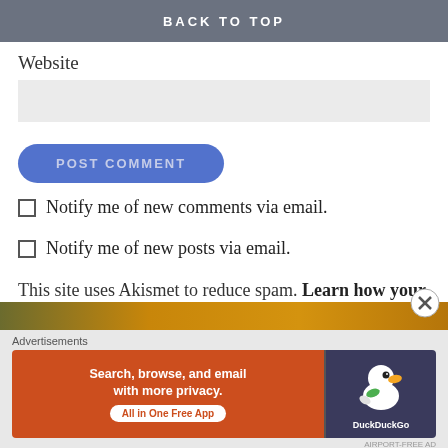BACK TO TOP
Website
POST COMMENT
Notify me of new comments via email.
Notify me of new posts via email.
This site uses Akismet to reduce spam. Learn how your comment data is processed.
[Figure (screenshot): Bottom image bar with warm brown/orange gradient]
Advertisements
[Figure (screenshot): DuckDuckGo advertisement banner: Search, browse, and email with more privacy. All in One Free App. Shows DuckDuckGo logo on dark blue background.]